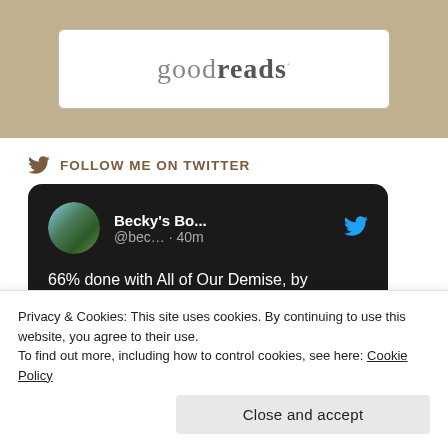[Figure (logo): Goodreads logo inside a rounded rectangle box on a tan/wood background]
FOLLOW ME ON TWITTER
[Figure (screenshot): Tweet card on dark background showing Becky's Bo... @bec... · 40m posting '66% done with All of Our Demise, by Amanda Foody goodreads.com/user_status/sh...' with Twitter bird icon]
Privacy & Cookies: This site uses cookies. By continuing to use this website, you agree to their use.
To find out more, including how to control cookies, see here: Cookie Policy
Close and accept